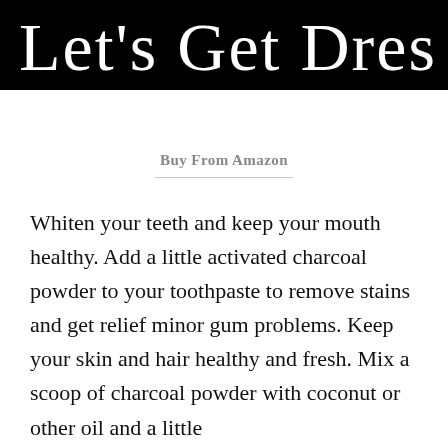[Figure (logo): Handwritten cursive script logo reading 'Let's Get Dressed' in white on a black background]
Buy From Amazon
Whiten your teeth and keep your mouth healthy. Add a little activated charcoal powder to your toothpaste to remove stains and get relief minor gum problems. Keep your skin and hair healthy and fresh. Mix a scoop of charcoal powder with coconut or other oil and a little